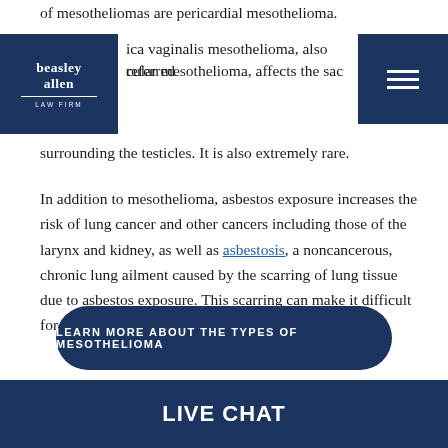of mesotheliomas are pericardial mesothelioma.
[Figure (logo): Beasley Allen Law Firm logo in dark blue square]
[Figure (other): Hamburger menu icon in dark blue square]
ica vaginalis mesothelioma, also referred
cular mesothelioma, affects the sac
surrounding the testicles. It is also extremely rare.
In addition to mesothelioma, asbestos exposure increases the risk of lung cancer and other cancers including those of the larynx and kidney, as well as asbestosis, a noncancerous, chronic lung ailment caused by the scarring of lung tissue due to asbestos exposure. This scarring can make it difficult for the lungs to expand and contract
LEARN MORE ABOUT THE TYPES OF MESOTHELIOMA
LIVE CHAT